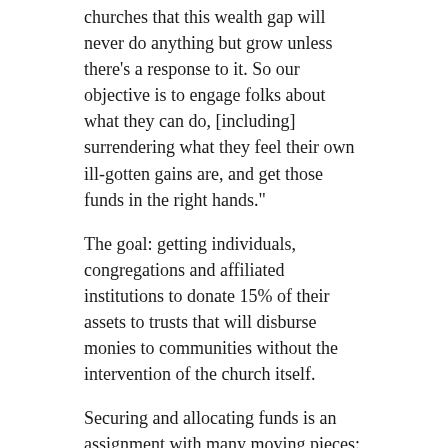churches that this wealth gap will never do anything but grow unless there's a response to it. So our objective is to engage folks about what they can do, [including] surrendering what they feel their own ill-gotten gains are, and get those funds in the right hands."
The goal: getting individuals, congregations and affiliated institutions to donate 15% of their assets to trusts that will disburse monies to communities without the intervention of the church itself.
Securing and allocating funds is an assignment with many moving pieces: internal culture shift; handling difficult conversations and dissent; and mobilizing existing mechanisms or building infrastructure to support this unprecedented initiative.
Discussion moves forward
Depending on perspective, the process is moving fast or slow. Reparations has been on the PCUSA table before. In